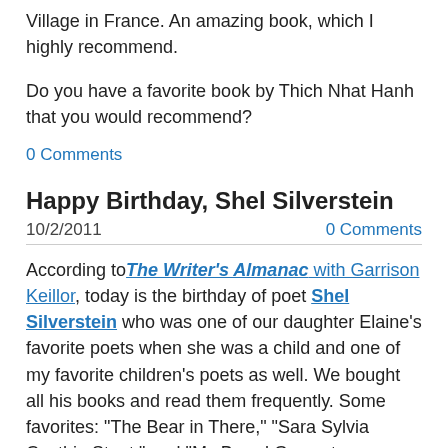Village in France. An amazing book, which I highly recommend.
Do you have a favorite book by Thich Nhat Hanh that you would recommend?
0 Comments
Happy Birthday, Shel Silverstein
10/2/2011    0 Comments
According to The Writer's Almanac with Garrison Keillor, today is the birthday of poet Shel Silverstein who was one of our daughter Elaine's favorite poets when she was a child and one of my favorite children's poets as well. We bought all his books and read them frequently. Some favorites: "The Bear in There," "Sara Sylvia Cynthia Stout," and "My Beard Grows to my Toes."
Silverstein's book Where the Sidewalk Ends is one of the best-selling volumes of poetry ever written. If you're